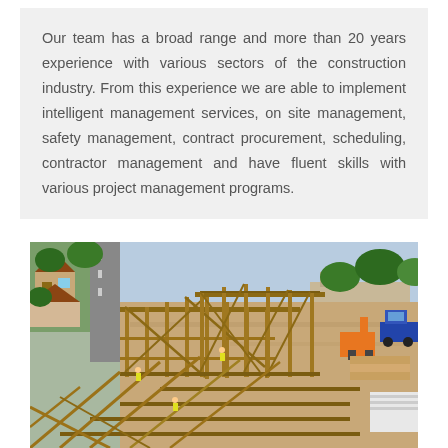Our team has a broad range and more than 20 years experience with various sectors of the construction industry. From this experience we are able to implement intelligent management services, on site management, safety management, contract procurement, scheduling, contractor management and have fluent skills with various project management programs.
[Figure (photo): Aerial view of a construction site showing wooden framing of multiple building structures under construction, with heavy equipment visible, residential neighborhood and road visible in the background, and open land surrounding the site.]